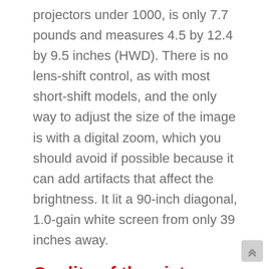projectors under 1000, is only 7.7 pounds and measures 4.5 by 12.4 by 9.5 inches (HWD). There is no lens-shift control, as with most short-shift models, and the only way to adjust the size of the image is with a digital zoom, which you should avoid if possible because it can add artifacts that affect the brightness. It lit a 90-inch diagonal, 1.0-gain white screen from only 39 inches away.
Quality of the picture.
A better-looking image will give you a better user experience, no matter what you're using a projector for., the best full HD projector uses